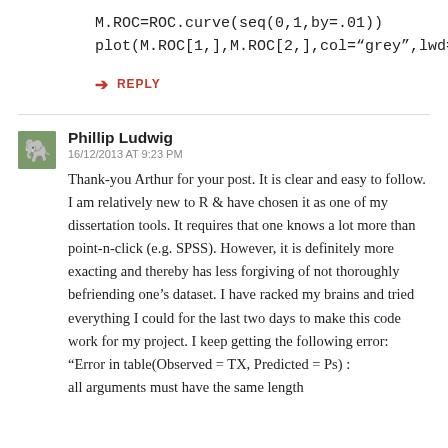M.ROC=ROC.curve(seq(0,1,by=.01))
plot(M.ROC[1,],M.ROC[2,],col="grey",lwd=2,type="l")
↳ REPLY
Phillip Ludwig
16/12/2013 AT 9:23 PM
Thank-you Arthur for your post. It is clear and easy to follow. I am relatively new to R & have chosen it as one of my dissertation tools. It requires that one knows a lot more than point-n-click (e.g. SPSS). However, it is definitely more exacting and thereby has less forgiving of not thoroughly befriending one's dataset. I have racked my brains and tried everything I could for the last two days to make this code work for my project. I keep getting the following error:
"Error in table(Observed = TX, Predicted = Ps) :
all arguments must have the same length